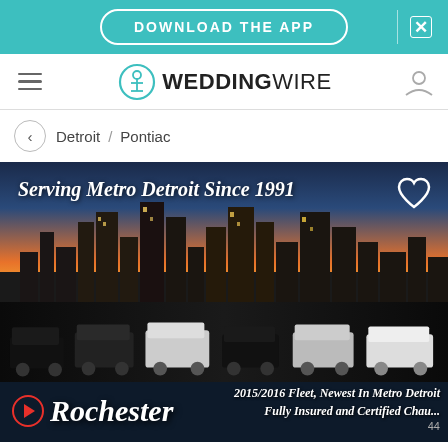[Figure (screenshot): Teal download app banner with 'DOWNLOAD THE APP' button and close X]
[Figure (logo): WeddingWire navigation bar with hamburger menu, teal circular logo, WEDDINGWIRE text, and user icon]
Detroit / Pontiac
[Figure (photo): Rochester limousine company advertisement. Detroit skyline at dusk in background, fleet of vans and SUVs in foreground. Text: 'Serving Metro Detroit Since 1991', 'Rochester' logo, '2015/2016 Fleet, Newest In Metro Detroit Fully Insured and Certified Chau...' and heart icon. Page indicator 44.]